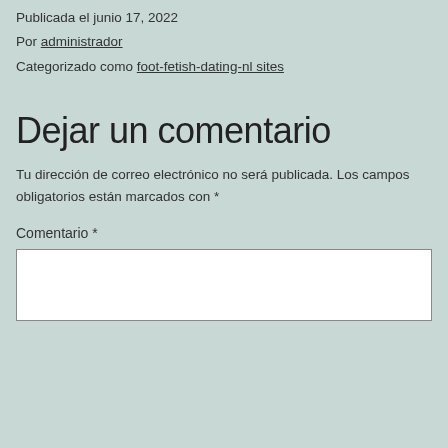Publicada el junio 17, 2022
Por administrador
Categorizado como foot-fetish-dating-nl sites
Dejar un comentario
Tu dirección de correo electrónico no será publicada. Los campos obligatorios están marcados con *
Comentario *